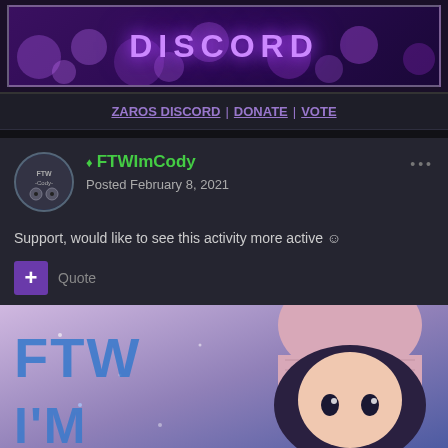[Figure (illustration): Discord server banner with purple jellyfish background and 'DISCORD' text in glowing purple letters, white border]
ZAROS DISCORD | DONATE | VOTE
FTWImCody
Posted February 8, 2021
Support, would like to see this activity more active 😊
+ Quote
[Figure (illustration): Anime character with pink beanie hat and blue text overlay reading 'FTW I'M']